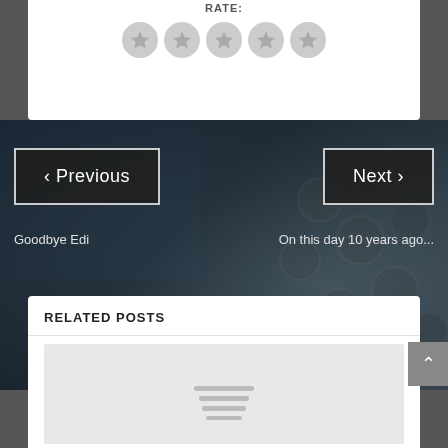RATE:
[Figure (illustration): Five grey circular star rating icons in a row]
[Figure (photo): Dark background photograph of vintage typewriter keys]
< Previous
Next >
Goodbye Edi
On this day 10 years ago...
RELATED POSTS
[Figure (illustration): Grey placeholder image with hamburger/lines icon in center]